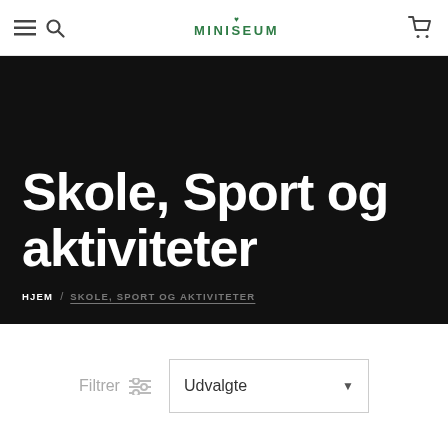Miniseum navigation bar with hamburger menu, search icon, Miniseum logo, and cart icon
Skole, Sport og aktiviteter
HJEM / SKOLE, SPORT OG AKTIVITETER
Filtrer  Udvalgte